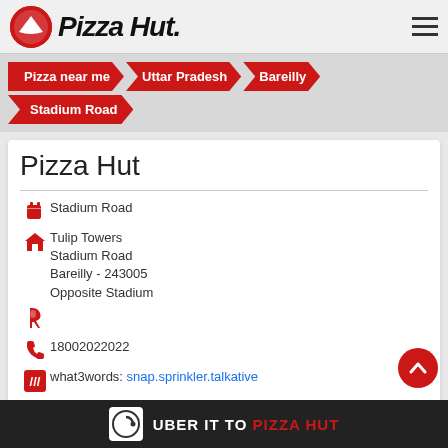[Figure (logo): Pizza Hut logo with red circle and hat icon, and Pizza Hut italic text]
Pizza near me > Uttar Pradesh > Bareilly > Stadium Road
Pizza Hut
Stadium Road
Tulip Towers
Stadium Road
Bareilly - 243005
Opposite Stadium
18002022022
what3words: snap.sprinkler.talkative
Open until 10:00 PM   OPEN NOW
fssai 12715009000265
UBER IT TO PIZZA HUT